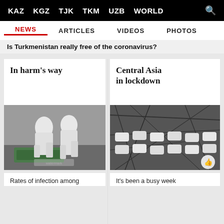KAZ  KGZ  TJK  TKM  UZB  WORLD
NEWS  ARTICLES  VIDEOS  PHOTOS
Is Turkmenistan really free of the coronavirus?
In harm's way
Central Asia in lockdown
[Figure (photo): Two people in white protective hazmat suits working over a hospital bed with green equipment]
[Figure (photo): Aerial or elevated view of snow-covered white objects arranged in rows on a dark surface, possibly a rooftop or outdoor area. A thumbs-up like button overlaid in bottom right.]
Rates of infection among
It's been a busy week